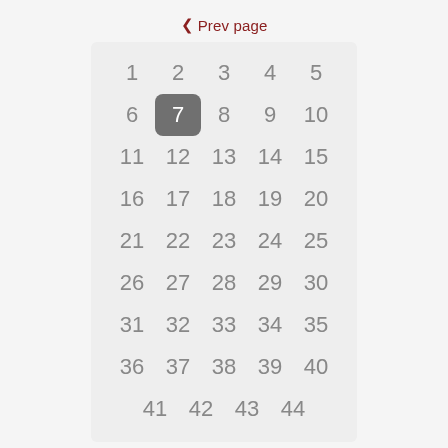< Prev page
| 1 | 2 | 3 | 4 | 5 |
| 6 | 7 | 8 | 9 | 10 |
| 11 | 12 | 13 | 14 | 15 |
| 16 | 17 | 18 | 19 | 20 |
| 21 | 22 | 23 | 24 | 25 |
| 26 | 27 | 28 | 29 | 30 |
| 31 | 32 | 33 | 34 | 35 |
| 36 | 37 | 38 | 39 | 40 |
| 41 | 42 | 43 | 44 |  |
Next page >